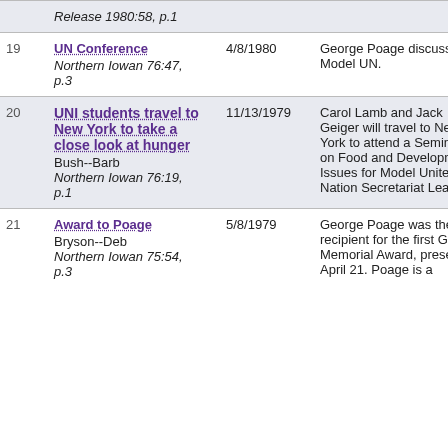| # | Title / Source | Date | Description |
| --- | --- | --- | --- |
|  | Release 1980:58, p.1 |  |  |
| 19 | UN Conference
Northern Iowan 76:47, p.3 | 4/8/1980 | George Poage discusses Model UN. |
| 20 | UNI students travel to New York to take a close look at hunger
Bush--Barb
Northern Iowan 76:19, p.1 | 11/13/1979 | Carol Lamb and Jack Geiger will travel to New York to attend a Seminar on Food and Development Issues for Model United Nation Secretariat Leaders. |
| 21 | Award to Poage
Bryson--Deb
Northern Iowan 75:54, p.3 | 5/8/1979 | George Poage was the recipient for the first Garst Memorial Award, presented April 21. Poage is a |